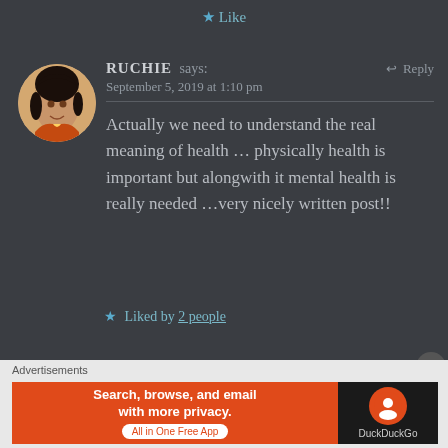★ Like
RUCHIE says:   ↩ Reply
September 5, 2019 at 1:10 pm
Actually we need to understand the real meaning of health … physically health is important but alongwith it mental health is really needed …very nicely written post!!
★ Liked by 2 people
[Figure (other): Advertisements banner: DuckDuckGo ad with orange background. Text: Search, browse, and email with more privacy. All in One Free App. DuckDuckGo logo on dark right panel.]